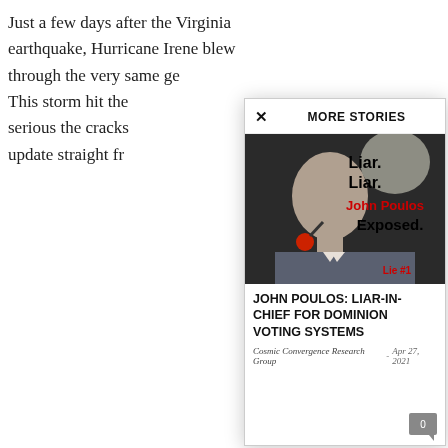Just a few days after the Virginia earthquake, Hurricane Irene blew through the very same ge... This storm hit the... serious the cracks... update straight fr...
MORE STORIES
[Figure (photo): Photo of a man at a microphone with bold text overlay reading 'Liar. Liar. John Poulos Exposed. Lie #1' in red and black on dark background]
JOHN POULOS: LIAR-IN-CHIEF FOR DOMINION VOTING SYSTEMS
Cosmic Convergence Research Group  -  Apr 27, 2021